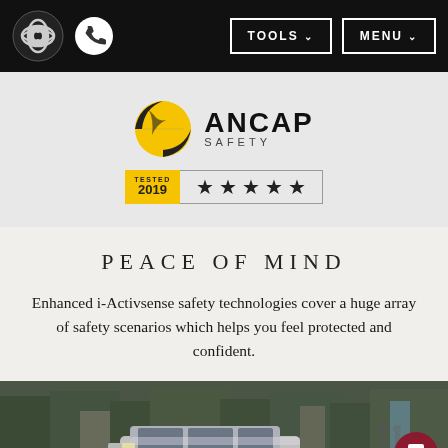Mazda navigation bar with logo, phone icon, TOOLS and MENU buttons
[Figure (logo): ANCAP Safety logo with yellow and black crash test ball, text ANCAP SAFETY, and 5-star rating badge tested in 2019]
PEACE OF MIND
Enhanced i-Activsense safety technologies cover a huge array of safety scenarios which helps you feel protected and confident.
[Figure (photo): Street scene with a silver Mazda SUV driving through a tree-lined urban street, buildings in background]